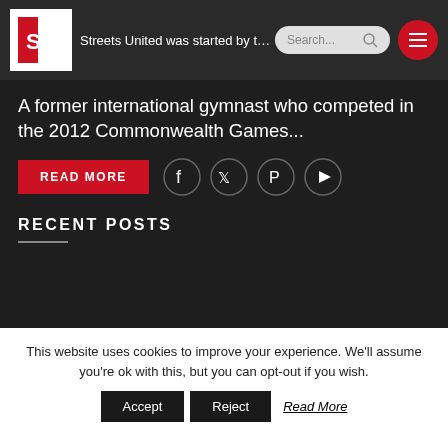Streets United was started by the Managing Director Courtney Orange in 2008.
A former international gymnast who competed in the 2012 Commonwealth Games...
READ MORE
RECENT POSTS
Top 5 Entertainers for STREET PROMOTIONS
Light Entertainment for 2022 Events
This website uses cookies to improve your experience. We'll assume you're ok with this, but you can opt-out if you wish. Accept Reject Read More